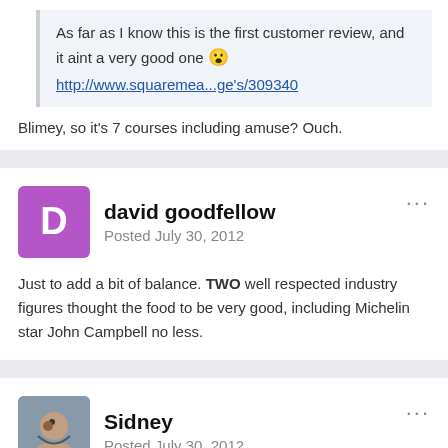As far as I know this is the first customer review, and it aint a very good one 😮
http://www.squaremea...ge's/309340
Blimey, so it's 7 courses including amuse? Ouch.
david goodfellow
Posted July 30, 2012
Just to add a bit of balance. TWO well respected industry figures thought the food to be very good, including Michelin star John Campbell no less.
Sidney
Posted July 30, 2012
Get a life David ,Campbell is history nobody will work with the